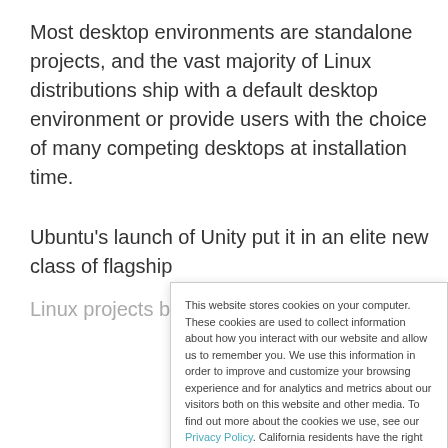Most desktop environments are standalone projects, and the vast majority of Linux distributions ship with a default desktop environment or provide users with the choice of many competing desktops at installation time.
Ubuntu's launch of Unity put it in an elite new class of flagship
Linux projects by giving it a look and feel to match — a feat
This website stores cookies on your computer. These cookies are used to collect information about how you interact with our website and allow us to remember you. We use this information in order to improve and customize your browsing experience and for analytics and metrics about our visitors both on this website and other media. To find out more about the cookies we use, see our Privacy Policy. California residents have the right to direct us not to sell their personal information to third parties by filing an Opt-Out Request: Do Not Sell My Personal Info.
Accept